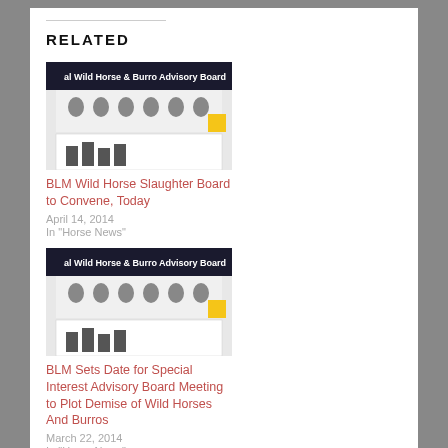RELATED
[Figure (photo): Wild Horse & Burro Advisory Board image with cartoon monkeys]
BLM Wild Horse Slaughter Board to Convene, Today
April 14, 2014
In "Horse News"
[Figure (photo): Wild Horse & Burro Advisory Board image with cartoon monkeys (duplicate)]
BLM Sets Date for Special Interest Advisory Board Meeting to Plot Demise of Wild Horses And Burros
March 22, 2014
In "Horse News"
[Figure (photo): Three skeleton figurines in see-no-evil, hear-no-evil, speak-no-evil poses]
Second Call for Nominations for BLM Wild Horse and Burro Board Advisory...